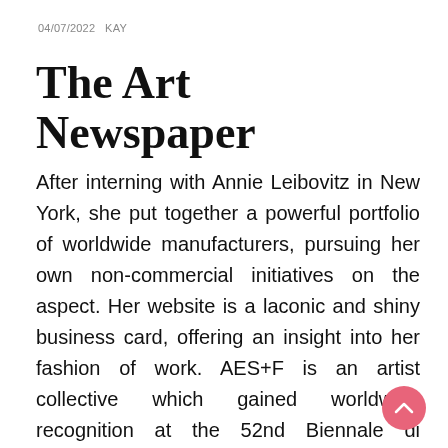04/07/2022   KAY
The Art Newspaper
After interning with Annie Leibovitz in New York, she put together a powerful portfolio of worldwide manufacturers, pursuing her own non-commercial initiatives on the aspect. Her website is a laconic and shiny business card, offering an insight into her fashion of work. AES+F is an artist collective which gained worldwide recognition at the 52nd Biennale di Venezia in 2007. For greater than a decade, works by AES+F have been showcased in cinema, festivals and biographical exhibitions of